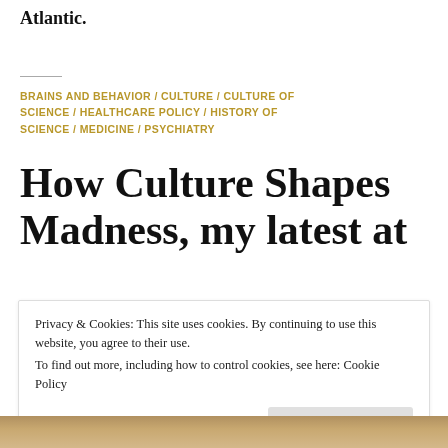Atlantic.
BRAINS AND BEHAVIOR / CULTURE / CULTURE OF SCIENCE / HEALTHCARE POLICY / HISTORY OF SCIENCE / MEDICINE / PSYCHIATRY
How Culture Shapes Madness, my latest at
Privacy & Cookies: This site uses cookies. By continuing to use this website, you agree to their use.
To find out more, including how to control cookies, see here: Cookie Policy
[Figure (photo): Partial photo strip at the bottom of the page, showing warm golden-brown tones]